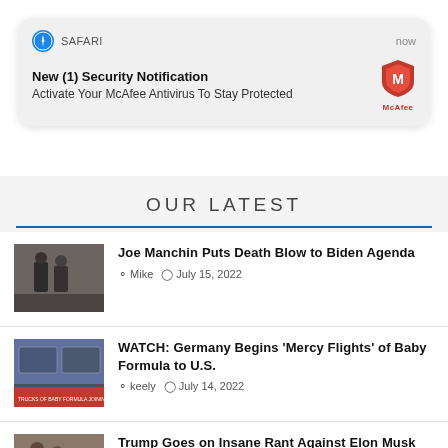[Figure (screenshot): Safari browser notification banner: 'New (1) Security Notification — Activate Your McAfee Antivirus To Stay Protected' with McAfee logo]
OUR LATEST
[Figure (photo): Two men in suits walking, news article thumbnail]
Joe Manchin Puts Death Blow to Biden Agenda
& Mike  July 15, 2022
[Figure (photo): News broadcast screenshot about baby formula flights]
WATCH: Germany Begins 'Mercy Flights' of Baby Formula to U.S.
& keely  July 14, 2022
[Figure (photo): Trump with others, news article thumbnail]
Trump Goes on Insane Rant Against Elon Musk
& Mike  July 13, 2022